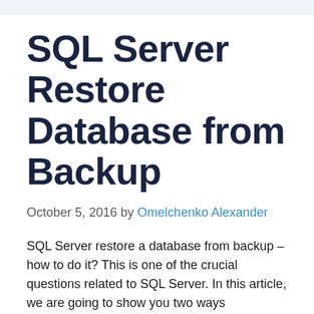SQL Server Restore Database from Backup
October 5, 2016 by Omelchenko Alexander
SQL Server restore a database from backup – how to do it? This is one of the crucial questions related to SQL Server. In this article, we are going to show you two ways